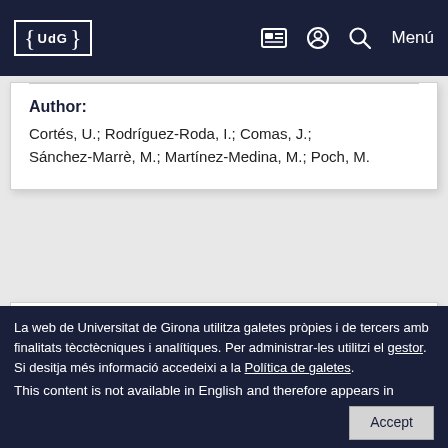UdG — Universitat de Girona navigation bar with logo, icons, and Menú
Author:
Cortés, U.; Rodríguez-Roda, I.; Comas, J.; Sánchez-Marrè, M.; Martínez-Medina, M.; Poch, M.
Conference:
15th European Conference on Artificial Intelligence.
La web de Universitat de Girona utilitza galetes pròpies i de tercers amb finalitats tècniques i analítiques. Per administrar-les utilitzi el gestor. Si desitja més informació accedeixi a la Política de galetes.
This content is not available in English and therefore appears in
Accept